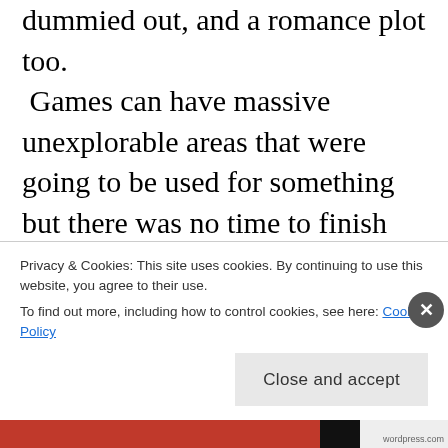dummied out, and a romance plot too. Games can have massive unexplorable areas that were going to be used for something but there was no time to finish it. Going back to Mass Effect, a lot of the complaints about the DLC being “on the disc” were only partially right because yes, these planned for expansions were planned for and thus their bare bones were already in place but incomplete. All the dialogue and scenes
Privacy & Cookies: This site uses cookies. By continuing to use this website, you agree to their use.
To find out more, including how to control cookies, see here: Cookie Policy
Close and accept